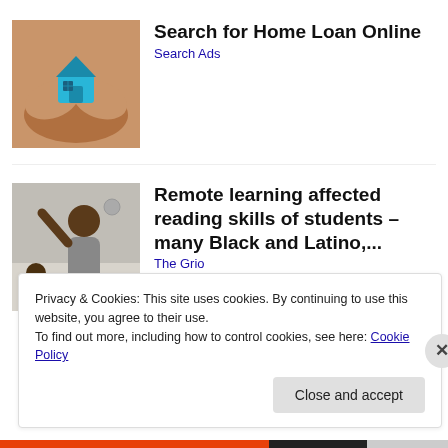[Figure (photo): Hands cupping a small blue house icon — home loan themed image]
Search for Home Loan Online
Search Ads
[Figure (photo): Student with hand raised in a classroom — remote learning themed image]
Remote learning affected reading skills of students – many Black and Latino,...
The Grio
Privacy & Cookies: This site uses cookies. By continuing to use this website, you agree to their use.
To find out more, including how to control cookies, see here: Cookie Policy
Close and accept